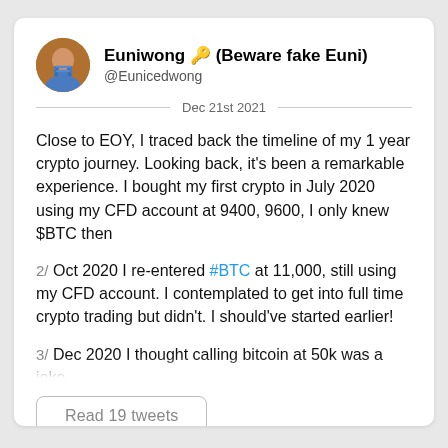Euniwong 🔑 (Beware fake Euni)
@Eunicedwong
Dec 21st 2021
Close to EOY, I traced back the timeline of my 1 year crypto journey. Looking back, it's been a remarkable experience. I bought my first crypto in July 2020 using my CFD account at 9400, 9600, I only knew $BTC then
2/ Oct 2020 I re-entered #BTC at 11,000, still using my CFD account. I contemplated to get into full time crypto trading but didn't. I should've started earlier!
3/ Dec 2020 I thought calling bitcoin at 50k was a joke,
Read 19 tweets